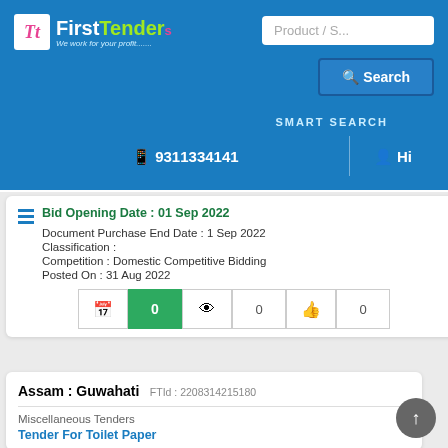[Figure (screenshot): FirstTender website header with logo, search box, search button, smart search label, phone number 9311334141, and Hi user icon]
Bid Opening Date : 01 Sep 2022
Document Purchase End Date : 1 Sep 2022
Classification :
Competition : Domestic Competitive Bidding
Posted On : 31 Aug 2022
0   0   0
Assam : Guwahati   FTId : 2208314215180
Miscellaneous Tenders
Tender For Toilet Paper